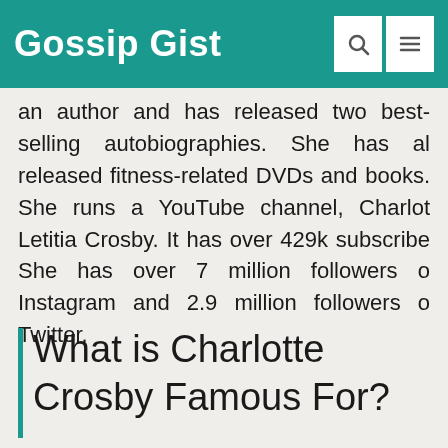Gossip Gist
an author and has released two best-selling autobiographies. She has also released fitness-related DVDs and books. She runs a YouTube channel, Charlotte Letitia Crosby. It has over 429k subscribers. She has over 7 million followers on Instagram and 2.9 million followers on Twitter.
What is Charlotte Crosby Famous For?